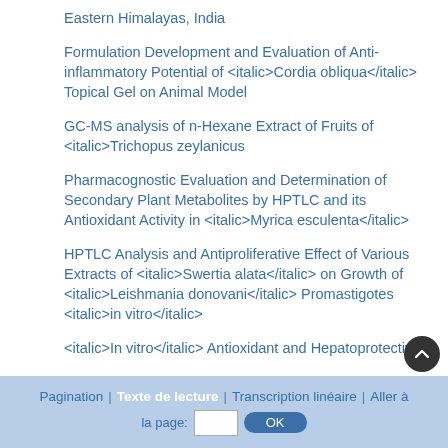Eastern Himalayas, India
Formulation Development and Evaluation of Anti-inflammatory Potential of <italic>Cordia obliqua</italic> Topical Gel on Animal Model
GC-MS analysis of n-Hexane Extract of Fruits of <italic>Trichopus zeylanicus
Pharmacognostic Evaluation and Determination of Secondary Plant Metabolites by HPTLC and its Antioxidant Activity in <italic>Myrica esculenta</italic>
HPTLC Analysis and Antiproliferative Effect of Various Extracts of <italic>Swertia alata</italic> on Growth of <italic>Leishmania donovani</italic> Promastigotes <italic>in vitro</italic>
<italic>In vitro</italic> Antioxidant and Hepatoprotective
Pagination | Texte de lecture | Transcription linéaire | Aller à la page: [  ] OK